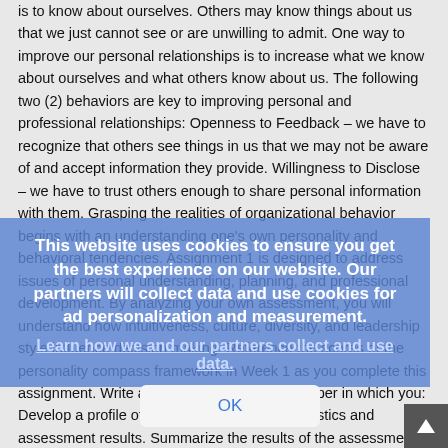is to know about ourselves. Others may know things about us that we just cannot see or are unwilling to admit. One way to improve our personal relationships is to increase what we know about ourselves and what others know about us. The following two (2) behaviors are key to improving personal and professional relationships: Openness to Feedback – we have to recognize that others see things in us that we may not be aware of and accept information they provide. Willingness to Disclose – we have to trust others enough to share personal information with them. Grasping the realities of organizational behavior begins with an understanding one's own personality and behavioral tendencies. Assignment 1 is designed to address issues of personal understanding, planning, and professional development. By analyzing your own assessment, you will understand how intuitiveness, culture, diversity, and leadership style influence decision making. Reference the scores of the personality compass framework in Week 1 as you complete this assignment. Write a two to three (2-3) page paper in which you: Develop a profile of your personality characteristics and assessment results. Summarize the results of the assessments you completed for homework in Week 1. Analyze how attributes / scores speak to your relationships and career choice. Submit the completed Self-Assessment Score Sheet as an appendix in Assignment 1. Use at least three (3) quality academic resources in this assignment. Note:
This website uses cookies to ensure you get the best experience on our website. Our partners will collect data and use cookies for ad personalization and measurement. Learn how we and our partners collect and use data.
OK